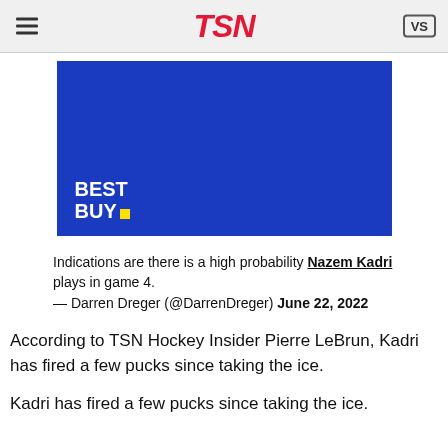TSN
[Figure (other): Best Buy advertisement banner on blue background]
Indications are there is a high probability Nazem Kadri plays in game 4.
— Darren Dreger (@DarrenDreger) June 22, 2022
According to TSN Hockey Insider Pierre LeBrun, Kadri has fired a few pucks since taking the ice.
Kadri has fired a few pucks since taking the ice.